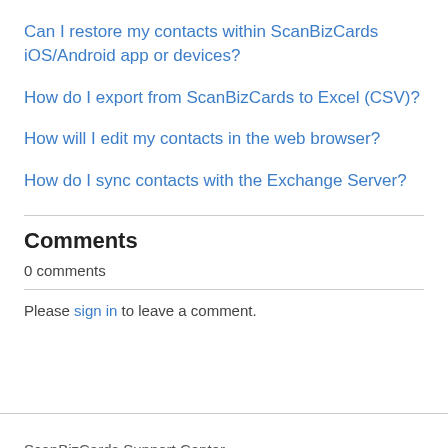Can I restore my contacts within ScanBizCards iOS/Android app or devices?
How do I export from ScanBizCards to Excel (CSV)?
How will I edit my contacts in the web browser?
How do I sync contacts with the Exchange Server?
Comments
0 comments
Please sign in to leave a comment.
ScanBizCards Support Center